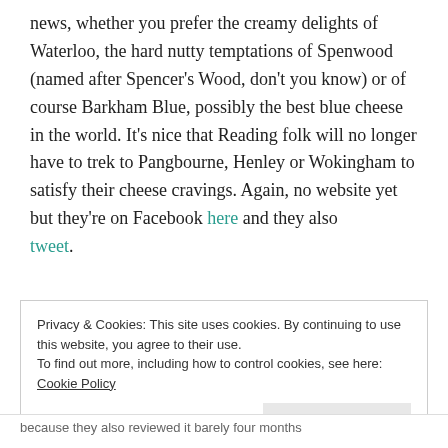news, whether you prefer the creamy delights of Waterloo, the hard nutty temptations of Spenwood (named after Spencer's Wood, don't you know) or of course Barkham Blue, possibly the best blue cheese in the world. It's nice that Reading folk will no longer have to trek to Pangbourne, Henley or Wokingham to satisfy their cheese cravings. Again, no website yet but they're on Facebook here and they also tweet.
Privacy & Cookies: This site uses cookies. By continuing to use this website, you agree to their use. To find out more, including how to control cookies, see here: Cookie Policy
because they also reviewed it barely four months